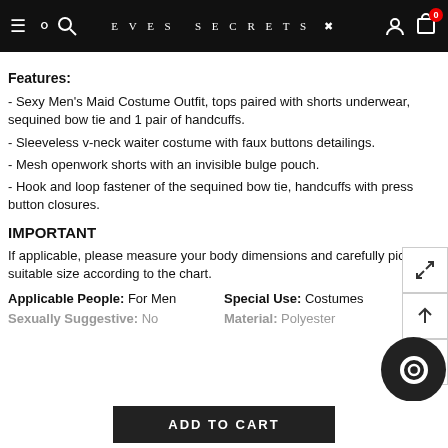EVES SECRETS
Features:
- Sexy Men's Maid Costume Outfit, tops paired with shorts underwear, sequined bow tie and 1 pair of handcuffs.
- Sleeveless v-neck waiter costume with faux buttons detailings.
- Mesh openwork shorts with an invisible bulge pouch.
- Hook and loop fastener of the sequined bow tie, handcuffs with press button closures.
IMPORTANT
If applicable, please measure your body dimensions and carefully pick a suitable size according to the chart.
Applicable People: For Men   Special Use: Costumes
Sexually Suggestive: No   Material: Polyester